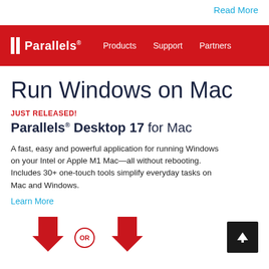Read More
[Figure (logo): Parallels navigation bar with red background, Parallels logo (two vertical bars and text), and nav links: Products, Support, Partners]
Run Windows on Mac
JUST RELEASED!
Parallels® Desktop 17 for Mac
A fast, easy and powerful application for running Windows on your Intel or Apple M1 Mac—all without rebooting. Includes 30+ one-touch tools simplify everyday tasks on Mac and Windows.
Learn More
[Figure (illustration): Two red downward arrows with an OR badge (red circle with OR text) between them, and a black scroll-to-top button with white arrow on the right]